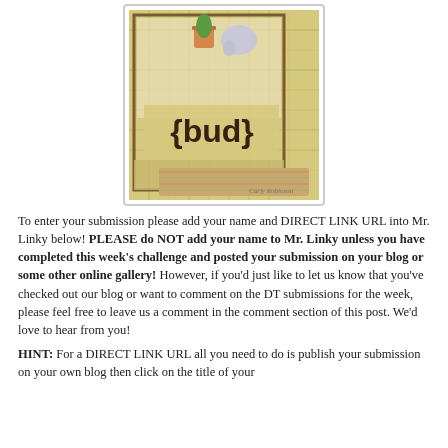[Figure (photo): A handmade greeting card with '{bud}' text, featuring cartoon animals and plaid patterned paper, displayed on a kraft envelope. Watermark reads 'Carly Robinson'.]
To enter your submission please add your name and DIRECT LINK URL into Mr. Linky below! PLEASE do NOT add your name to Mr. Linky unless you have completed this week's challenge and posted your submission on your blog or some other online gallery! However, if you'd just like to let us know that you've checked out our blog or want to comment on the DT submissions for the week, please feel free to leave us a comment in the comment section of this post. We'd love to hear from you!
HINT: For a DIRECT LINK URL all you need to do is publish your submission on your own blog then click on the title of your